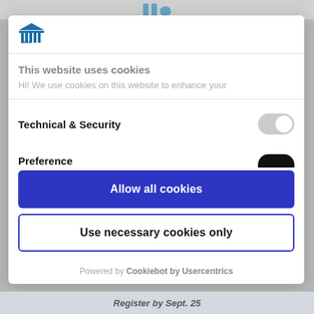[Figure (logo): LSAC logo - blue building/columns icon with LSAC text]
This website uses cookies
Hi! We use cookies on this website to enhance your
Technical & Security
Preference
Allow all cookies
Use necessary cookies only
Powered by Cookiebot by Usercentrics
Register by Sept. 25